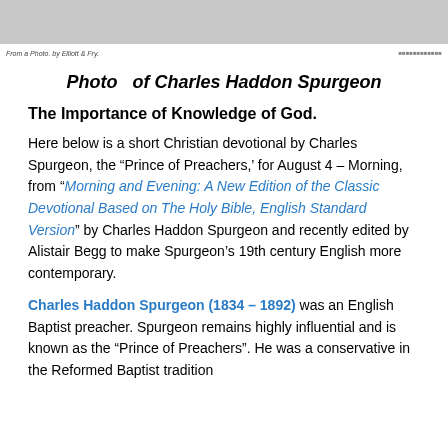[Figure (photo): Grayscale photograph of Charles Haddon Spurgeon at the top of the page]
From a Photo. by Elliott & Fry.
Photo  of Charles Haddon Spurgeon
The Importance of Knowledge of God.
Here below is a short Christian devotional by Charles Spurgeon, the “Prince of Preachers,’ for August 4 – Morning, from “Morning and Evening: A New Edition of the Classic Devotional Based on The Holy Bible, English Standard Version” by Charles Haddon Spurgeon and recently edited by Alistair Begg to make Spurgeon’s 19th century English more contemporary.
Charles Haddon Spurgeon (1834 – 1892) was an English Baptist preacher. Spurgeon remains highly influential and is known as the “Prince of Preachers”. He was a conservative in the Reformed Baptist tradition...